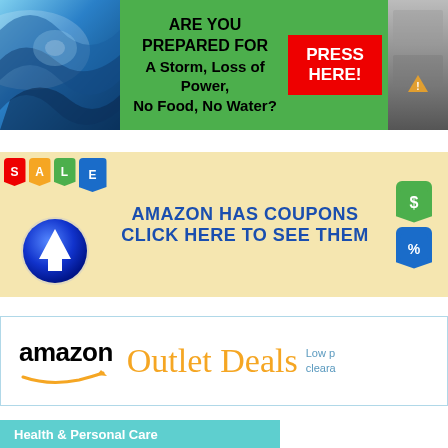[Figure (infographic): Storm preparedness advertisement banner with hurricane wave image on left, green background with text 'ARE YOU PREPARED FOR A Storm, Loss of Power, No Food, No Water?' in center, red PRESS HERE button, and storm image on right]
[Figure (infographic): Amazon Coupons advertisement banner with colorful sale tags, blue arrow button, and text 'AMAZON HAS COUPONS CLICK HERE TO SEE THEM' on yellow background with dollar and percent tag icons on right]
[Figure (infographic): Amazon Outlet Deals banner with Amazon logo and orange 'Outlet Deals' text and 'Low p cleara' text in teal]
[Figure (infographic): Teal banner at bottom with text 'Health & Personal Care']